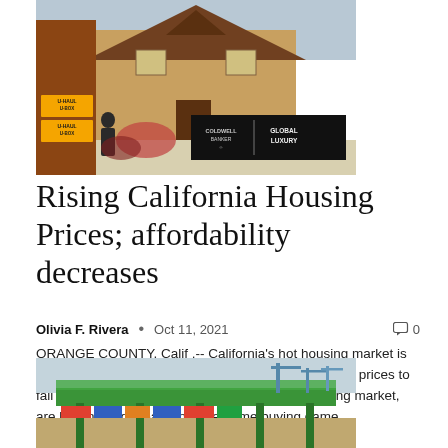[Figure (photo): Photo of a house with U-Haul boxes and a Coldwell Banker Global Luxury real estate sign in front]
Rising California Housing Prices; affordability decreases
Olivia F. Rivera  •  Oct 11, 2021  🗨 0
ORANGE COUNTY, Calif .-- California's hot housing market is expected to cool slightly next year, but not enough for prices to fall as buyers, who missed out on last year's housing market, are looking to get back into the home buying game....
[Figure (photo): Photo of a port or harbor with a green bridge structure and industrial cranes]